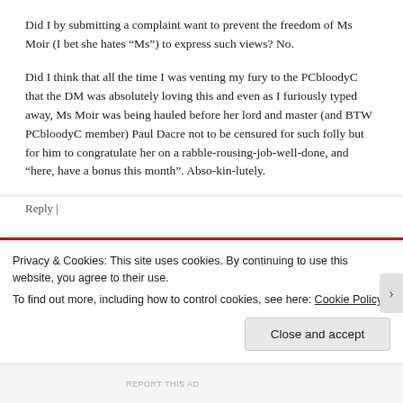Did I by submitting a complaint want to prevent the freedom of Ms Moir (I bet she hates “Ms”) to express such views? No.
Did I think that all the time I was venting my fury to the PCbloodyC that the DM was absolutely loving this and even as I furiously typed away, Ms Moir was being hauled before her lord and master (and BTW PCbloodyC member) Paul Dacre not to be censured for such folly but for him to congratulate her on a rabble-rousing-job-well-done, and “here, have a bonus this month”. Abso-kin-lutely.
Reply |
Privacy & Cookies: This site uses cookies. By continuing to use this website, you agree to their use.
To find out more, including how to control cookies, see here: Cookie Policy
Close and accept